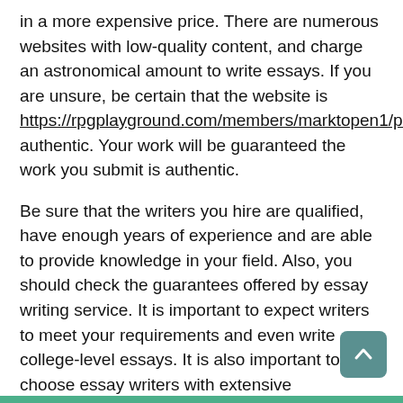in a more expensive price. There are numerous websites with low-quality content, and charge an astronomical amount to write essays. If you are unsure, be certain that the website is https://rpgplayground.com/members/marktopen1/profile/ authentic. Your work will be guaranteed the work you submit is authentic.
Be sure that the writers you hire are qualified, have enough years of experience and are able to provide knowledge in your field. Also, you should check the guarantees offered by essay writing service. It is important to expect writers to meet your requirements and even write college-level essays. It is also important to choose essay writers with extensive experience. It is important to ensure they have written articles for respected journals or magazines. If you are choosing a company to write for ensure that you hire only the most skilled writer, with the best qualification.
A professional essay writer will assure the authenticity of